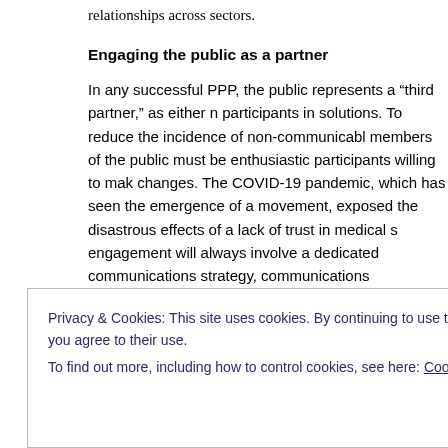relationships across sectors.
Engaging the public as a partner
In any successful PPP, the public represents a “third partner,” as either n participants in solutions. To reduce the incidence of non-communicabl members of the public must be enthusiastic participants willing to mak changes. The COVID-19 pandemic, which has seen the emergence of a movement, exposed the disastrous effects of a lack of trust in medical s engagement will always involve a dedicated communications strategy, communications professionals. But it is crucial to remember that the p different segments of the population must be engaged in different way
The future is collaboration
Of course, no set of “best practices” will be able to successfully change a po ew ca ne d f
Privacy & Cookies: This site uses cookies. By continuing to use this website, you agree to their use.
To find out more, including how to control cookies, see here: Cookie Policy